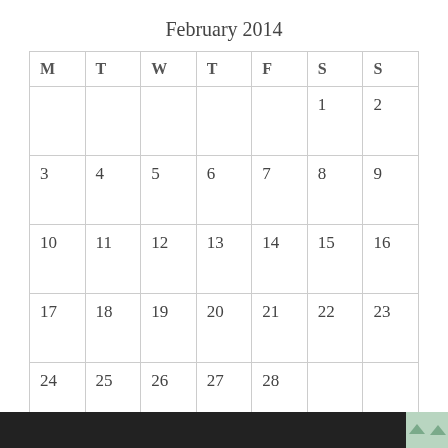February 2014
| M | T | W | T | F | S | S |
| --- | --- | --- | --- | --- | --- | --- |
|  |  |  |  |  | 1 | 2 |
| 3 | 4 | 5 | 6 | 7 | 8 | 9 |
| 10 | 11 | 12 | 13 | 14 | 15 | 16 |
| 17 | 18 | 19 | 20 | 21 | 22 | 23 |
| 24 | 25 | 26 | 27 | 28 |  |  |
« Jan   Mar »